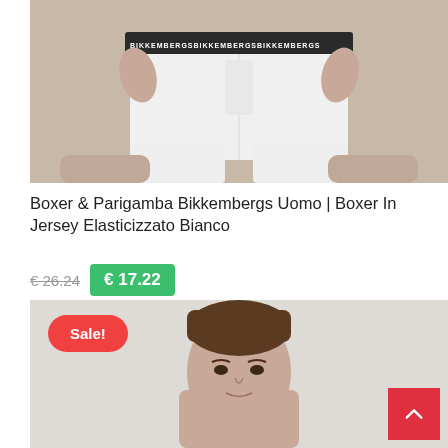[Figure (photo): Man wearing white Bikkembergs boxer shorts with branded waistband, hands pulling waistband, cropped at torso]
Boxer & Parigamba Bikkembergs Uomo | Boxer In Jersey Elasticizzato Bianco
€ 26.24  € 17.22
[Figure (photo): Man's face and upper body, product listing with Sale! badge in red]
Sale!